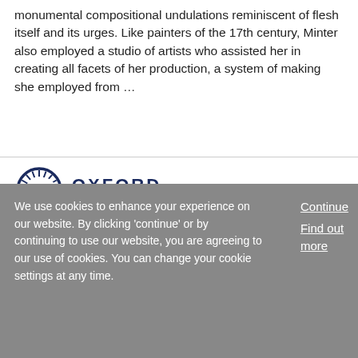monumental compositional undulations reminiscent of flesh itself and its urges. Like painters of the 17th century, Minter also employed a studio of artists who assisted her in creating all facets of her production, a system of making she employed from …
[Figure (logo): Oxford University Press logo with circular feather/leaf emblem and text 'OXFORD UNIVERSITY PRESS' in navy blue]
We use cookies to enhance your experience on our website. By clicking 'continue' or by continuing to use our website, you are agreeing to our use of cookies. You can change your cookie settings at any time.
Continue
Find out more